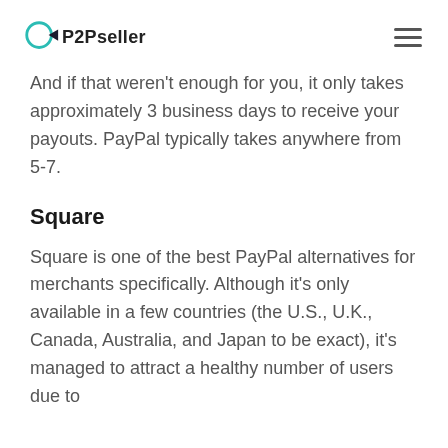P2Pseller
And if that weren't enough for you, it only takes approximately 3 business days to receive your payouts. PayPal typically takes anywhere from 5-7.
Square
Square is one of the best PayPal alternatives for merchants specifically. Although it's only available in a few countries (the U.S., U.K., Canada, Australia, and Japan to be exact), it's managed to attract a healthy number of users due to